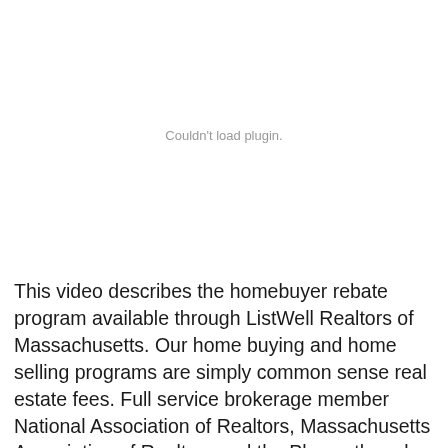[Figure (other): Couldn't load plugin. — placeholder area for an embedded video plugin that failed to load]
This video describes the homebuyer rebate program available through ListWell Realtors of Massachusetts. Our home buying and home selling programs are simply common sense real estate fees. Full service brokerage member National Association of Realtors, Massachusetts Association of Realtors and the Plymouth and South Shore Board of Realtors.